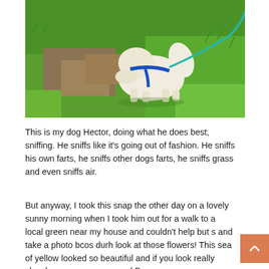[Figure (photo): A white fluffy dog wearing a blue harness and on a teal/blue leash, sniffing the ground on green and brown patchy grass outdoors.]
This is my dog Hector, doing what he does best, sniffing. He sniffs like it's going out of fashion. He sniffs his own farts, he sniffs other dogs farts, he sniffs grass and even sniffs air.
But anyway, I took this snap the other day on a lovely sunny morning when I took him out for a walk to a local green near my house and couldn't help but s and take a photo bcos durh look at those flowers! This sea of yellow looked so beautiful and if you look really closely you can see one red Poppy.